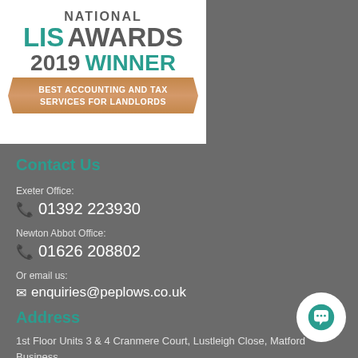[Figure (logo): National LIS Awards 2019 Winner – Best Accounting and Tax Services for Landlords badge on white background]
Contact Us
Exeter Office: 01392 223930
Newton Abbot Office: 01626 208802
Or email us: enquiries@peplows.co.uk
Address
1st Floor Units 3 & 4 Cranmere Court, Lustleigh Close, Matford Business Park, Exeter, Devon, EX2 8PW